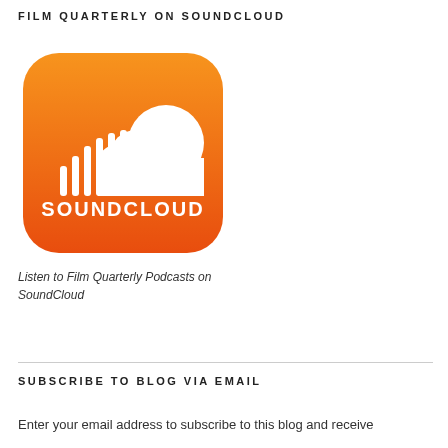FILM QUARTERLY ON SOUNDCLOUD
[Figure (logo): SoundCloud logo: orange rounded square with white cloud and sound wave bars, text SOUNDCLOUD below]
Listen to Film Quarterly Podcasts on SoundCloud
SUBSCRIBE TO BLOG VIA EMAIL
Enter your email address to subscribe to this blog and receive